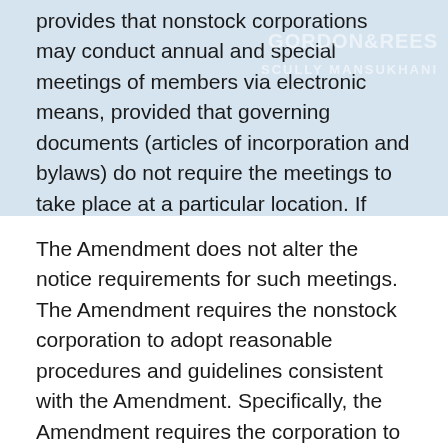provides that nonstock corporations may conduct annual and special meetings of members via electronic means, provided that governing documents (articles of incorporation and bylaws) do not require the meetings to take place at a particular location. If such condition is met, the nonstock corporation may hold the meeting entirely via virtual means and not at a physical venue.
The Amendment does not alter the notice requirements for such meetings. The Amendment requires the nonstock corporation to adopt reasonable procedures and guidelines consistent with the Amendment. Specifically, the Amendment requires the corporation to implement reasonable measures to (i) verify that each person participating remotely is a member or member's proxy, and (ii) provide members a reasonable opportunity to participate in the meeting and vote on the matters submitted to the owners.